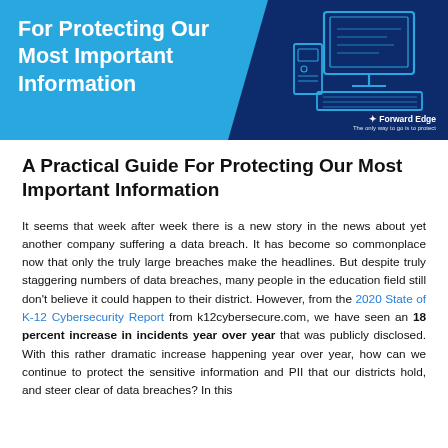[Figure (illustration): Header banner with light blue and dark navy blue background. White bold text reads 'For Protecting Our Most Important Information'. Right side shows a line-art illustration of a computer desktop setup (monitor, keyboard, computer tower) in blue on dark navy background. Forward Edge logo in bottom right.]
A Practical Guide For Protecting Our Most Important Information
It seems that week after week there is a new story in the news about yet another company suffering a data breach. It has become so commonplace now that only the truly large breaches make the headlines. But despite truly staggering numbers of data breaches, many people in the education field still don't believe it could happen to their district. However, from the 2020 State of K-12 Cybersecurity Report from k12cybersecure.com, we have seen an 18 percent increase in incidents year over year that was publicly disclosed. With this rather dramatic increase happening year over year, how can we continue to protect the sensitive information and PII that our districts hold, and steer clear of data breaches? In this